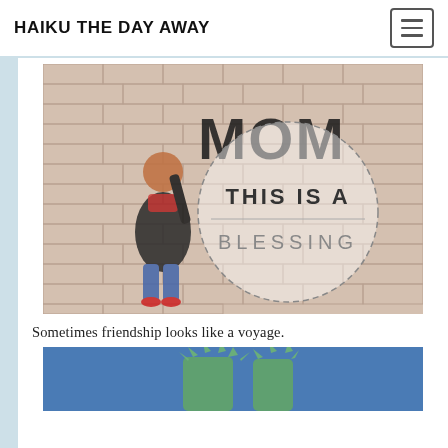HAIKU THE DAY AWAY
[Figure (photo): A child writing 'MOM' on a brick wall in graffiti, with a dashed circle overlay containing the text 'THIS IS A BLESSING']
Sometimes friendship looks like a voyage.
[Figure (photo): Partial view of the Statue of Liberty against a blue sky — top of crown visible]